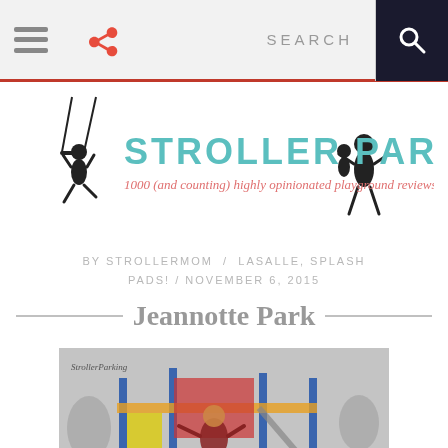Navigation bar with hamburger menu, share icon, SEARCH text, and search button
[Figure (logo): Stroller Parking logo with silhouettes of children on swings and text 'STROLLER PARKING' with tagline '1000 (and counting) highly opinionated playground reviews']
BY STROLLERMOM / LASALLE, SPLASH PADS! / NOVEMBER 6, 2015
Jeannotte Park
[Figure (photo): Child playing on a colorful playground structure with blue poles, red and yellow elements, in autumn setting. Watermark: StrollerParking]